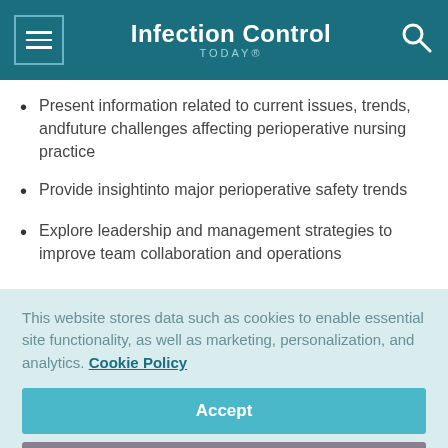Infection Control TODAY®
Present information related to current issues, trends, andfuture challenges affecting perioperative nursing practice
Provide insightinto major perioperative safety trends
Explore leadership and management strategies to improve team collaboration and operations
This website stores data such as cookies to enable essential site functionality, as well as marketing, personalization, and analytics. Cookie Policy
Accept
Deny